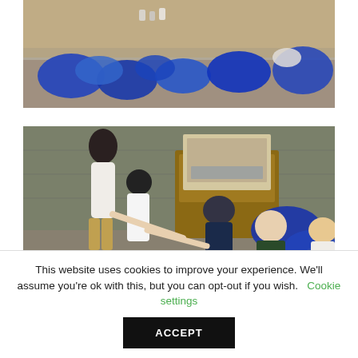[Figure (photo): Outdoor photo showing multiple blue plastic garbage/recycling bags arranged on the ground near a concrete or stone edge, with some jars or containers visible. Autumn leaves visible in background.]
[Figure (photo): Group of people outdoors crouching and working around blue plastic bags and a wooden box/crate structure with informational signage on top. Stone wall visible in the background.]
This website uses cookies to improve your experience. We'll assume you're ok with this, but you can opt-out if you wish.   Cookie settings
ACCEPT